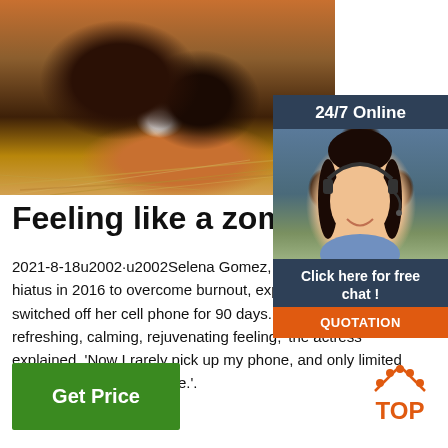[Figure (photo): Photo of animals (likely goats or cattle) lying in straw hay, close-up view]
[Figure (infographic): 24/7 Online customer support widget with woman wearing headset, 'Click here for free chat!' text, and orange QUOTATION button]
Feeling like a zombie - The
2021-8-18u2002·u2002Selena Gomez, just 26, t hiatus in 2016 to overcome burnout, explaining t switched off her cell phone for 90 days. 'It was th refreshing, calming, rejuvenating feeling,' the actress explained. 'Now I rarely pick up my phone, and only limited people have access to me.'.
[Figure (logo): Orange TOP badge/logo with dots above text]
Get Price